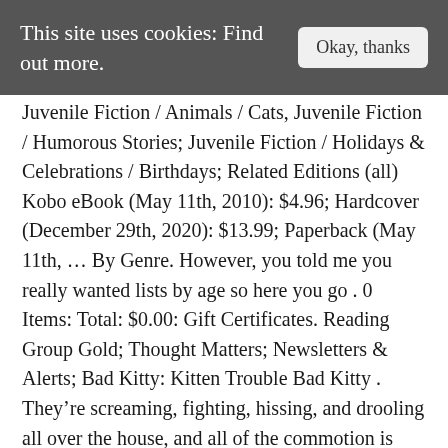This site uses cookies: Find out more.
Juvenile Fiction / Animals / Cats, Juvenile Fiction / Humorous Stories; Juvenile Fiction / Holidays & Celebrations / Birthdays; Related Editions (all) Kobo eBook (May 11th, 2010): $4.96; Hardcover (December 29th, 2020): $13.99; Paperback (May 11th, ... By Genre. However, you told me you really wanted lists by age so here you go . 0 Items: Total: $0.00: Gift Certificates. Reading Group Gold; Thought Matters; Newsletters & Alerts; Bad Kitty: Kitten Trouble Bad Kitty . They're screaming, fighting, hissing, and drooling all over the house, and all of the commotion is upsetting Baby. Internet-level